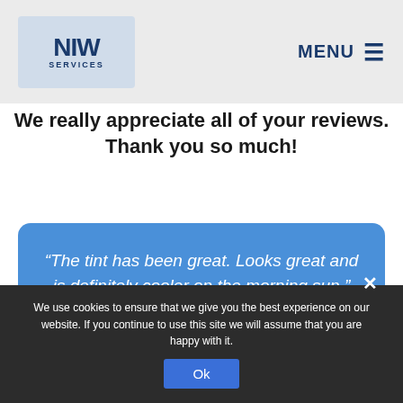NIW SERVICES — MENU
We really appreciate all of your reviews. Thank you so much!
“The tint has been great. Looks great and is definitely cooler on the morning sun.” — Jack G.
We use cookies to ensure that we give you the best experience on our website. If you continue to use this site we will assume that you are happy with it.